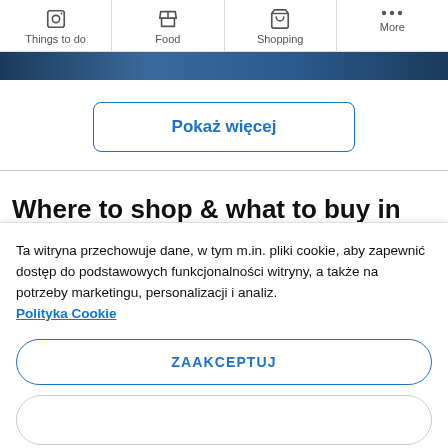Things to do | Food | Shopping | More
[Figure (photo): Partial image strip showing a dark nighttime or indoor scene, cropped at top of page]
Pokaż więcej
Where to shop & what to buy in
Ta witryna przechowuje dane, w tym m.in. pliki cookie, aby zapewnić dostęp do podstawowych funkcjonalności witryny, a także na potrzeby marketingu, personalizacji i analiz. Polityka Cookie
ZAAKCEPTUJ